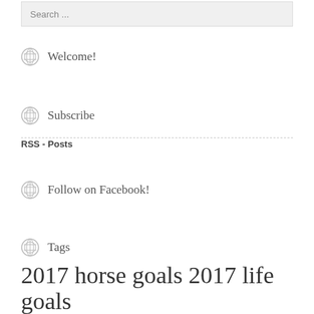Search ...
Welcome!
Subscribe
RSS - Posts
Follow on Facebook!
Tags
2017 horse goals 2017 life goals
2018 goals  back on track  black friday  finance friday  house post  jingle bell challenge